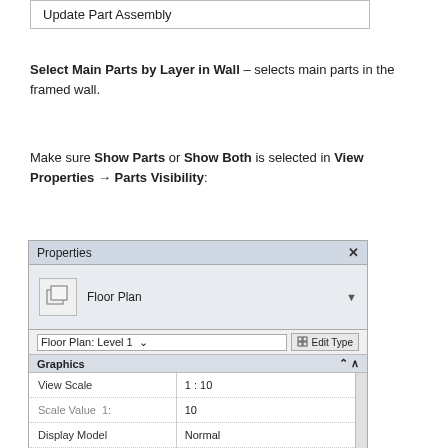[Figure (screenshot): Top portion of a UI dialog or menu box showing 'Update Part Assembly' option]
Select Main Parts by Layer in Wall – selects main parts in the framed wall.
Make sure Show Parts or Show Both is selected in View Properties → Parts Visibility:
[Figure (screenshot): Properties dialog showing Floor Plan view settings including Graphics section with View Scale 1:10, Scale Value 10, Display Model Normal, Detail Level Fine, Parts Visibility set to Show Both (highlighted in blue with dropdown showing Show Parts, Show Original, Show Both options)]